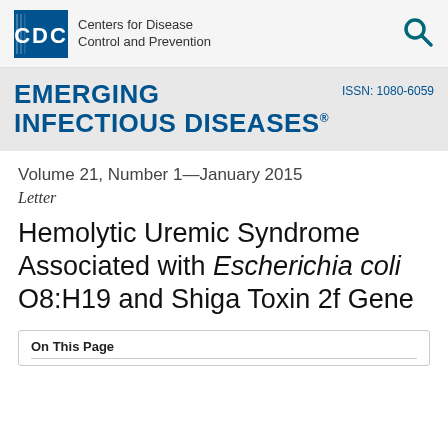[Figure (logo): CDC (Centers for Disease Control and Prevention) logo with blue box containing CDC text and wavy stripes, next to the full name text, and a teal search icon on the right]
[Figure (logo): Emerging Infectious Diseases journal header in dark blue bold uppercase text on grey background, with ISSN: 1080-6059 on the right]
Volume 21, Number 1—January 2015
Letter
Hemolytic Uremic Syndrome Associated with Escherichia coli O8:H19 and Shiga Toxin 2f Gene
On This Page